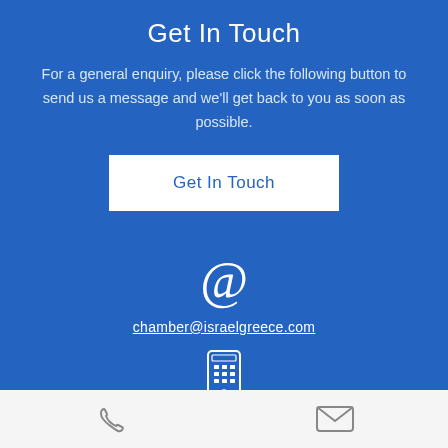Get In Touch
For a general enquiry, please click the following button to send us a message and we'll get back to you as soon as possible.
[Figure (other): A white rectangular button with blue text reading 'Get In Touch']
[Figure (other): Large @ symbol in white italic font]
chamber@israelgreece.com
[Figure (other): Mobile phone icon outline in white]
+972-58-5689590
[Figure (other): White square button with upward arrow icon]
[Figure (other): Phone handset icon in gray on white footer bar]
[Figure (other): Email envelope icon in gray on white footer bar]